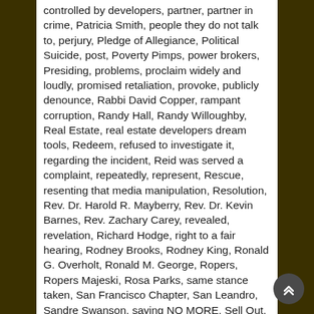controlled by developers, partner, partner in crime, Patricia Smith, people they do not talk to, perjury, Pledge of Allegiance, Political Suicide, post, Poverty Pimps, power brokers, Presiding, problems, proclaim widely and loudly, promised retaliation, provoke, publicly denounce, Rabbi David Copper, rampant corruption, Randy Hall, Randy Willoughby, Real Estate, real estate developers dream tools, Redeem, refused to investigate it, regarding the incident, Reid was served a complaint, repeatedly, represent, Rescue, resenting that media manipulation, Resolution, Rev. Dr. Harold R. Mayberry, Rev. Dr. Kevin Barnes, Rev. Zachary Carey, revealed, revelation, Richard Hodge, right to a fair hearing, Rodney Brooks, Rodney King, Ronald G. Overholt, Ronald M. George, Ropers, Ropers Majeski, Rosa Parks, same stance taken, San Francisco Chapter, San Leandro, Sandre Swanson, saying NO MORE, Sell Out, sellouts, serious crime, shamelessly, she had al-Hakim removed from the D. A.'s office while sitting alone in the lobby waiting for a meeting, She made this order without any legal proceeding, sign the Petition To The Honorables President Barack Obama, so-called, so-called power